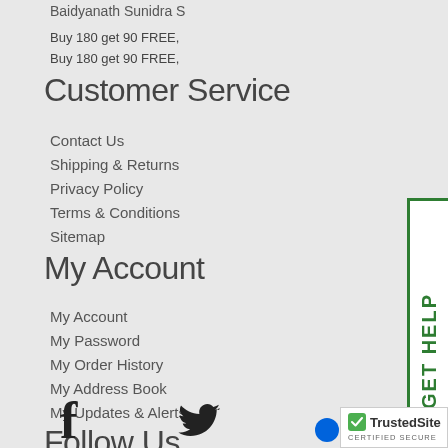Baidyanath Sunidra S
Buy 180 get 90 FREE,
Buy 180 get 90 FREE,
Customer Service
Contact Us
Shipping & Returns
Privacy Policy
Terms & Conditions
Sitemap
My Account
My Account
My Password
My Order History
My Address Book
My Updates & Alerts
Follow Us
[Figure (other): GET HELP button on right side, vertical green text]
[Figure (logo): TrustedSite CERTIFIED SECURE badge]
[Figure (logo): Facebook icon]
[Figure (logo): Twitter bird icon]
[Figure (logo): Flickr icon with blue and pink dots]